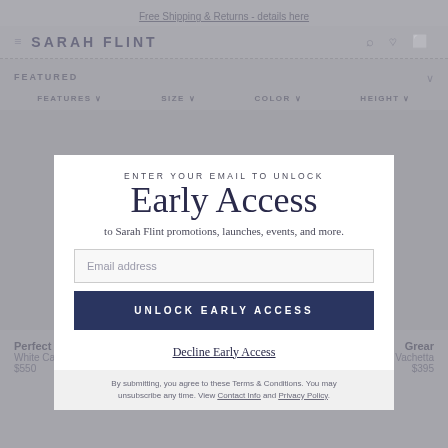Free Shipping & Returns - details here
SARAH FLINT
FEATURED
FEATURES   SIZE   COLOR   HEIGHT
ENTER YOUR EMAIL TO UNLOCK
Early Access
to Sarah Flint promotions, launches, events, and more.
Email address
UNLOCK EARLY ACCESS
Decline Early Access
By submitting, you agree to these Terms & Conditions. You may unsubscribe any time. View Contact Info and Privacy Policy.
Perfect Block Sandal 60
White Calf
$550
Grear
White Vachetta
$395